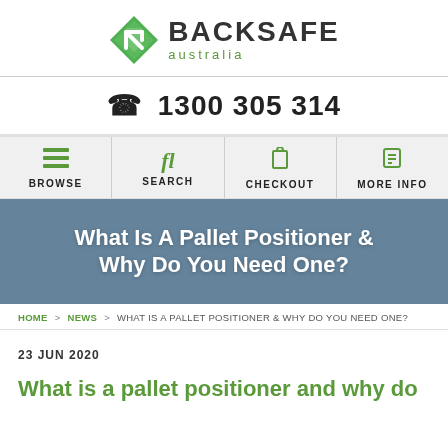[Figure (logo): Backsafe Australia logo with green diamond/arrow icon and company name]
📞 1300 305 314
BROWSE | SEARCH | CHECKOUT | MORE INFO
What Is A Pallet Positioner & Why Do You Need One?
HOME > NEWS > WHAT IS A PALLET POSITIONER & WHY DO YOU NEED ONE?
23 JUN 2020
What is a pallet positioner and why do